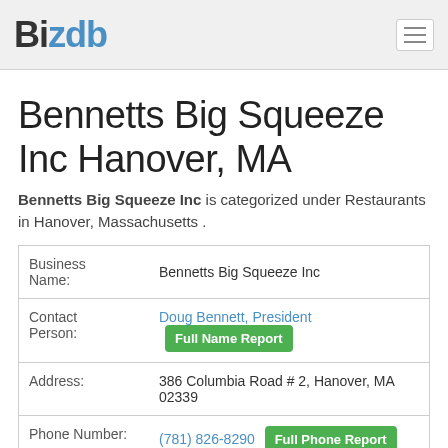BizDB
Bennetts Big Squeeze Inc Hanover, MA
Bennetts Big Squeeze Inc is categorized under Restaurants in Hanover, Massachusetts .
| Field | Value |
| --- | --- |
| Business Name: | Bennetts Big Squeeze Inc |
| Contact Person: | Doug Bennett, President | Full Name Report |
| Address: | 386 Columbia Road # 2, Hanover, MA 02339 |
| Phone Number: | (781) 826-8290 | Full Phone Report |